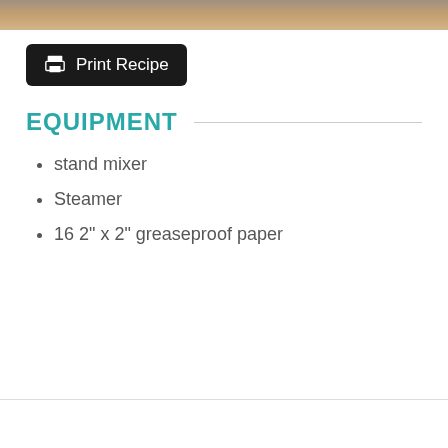[Figure (photo): Top portion of a food photo showing baked goods or similar food items on a surface]
Print Recipe
EQUIPMENT
stand mixer
Steamer
16 2" x 2" greaseproof paper